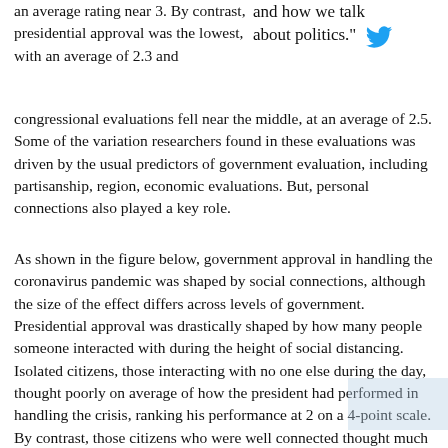an average rating near 3. By contrast, presidential approval was the lowest, with an average of 2.3 and congressional evaluations fell near the middle, at an average of 2.5. Some of the variation researchers found in these evaluations was driven by the usual predictors of government evaluation, including partisanship, region, economic evaluations. But, personal connections also played a key role.
and how we talk about politics.
As shown in the figure below, government approval in handling the coronavirus pandemic was shaped by social connections, although the size of the effect differs across levels of government. Presidential approval was drastically shaped by how many people someone interacted with during the height of social distancing. Isolated citizens, those interacting with no one else during the day, thought poorly on average of how the president had performed in handling the crisis, ranking his performance at 2 on a 4-point scale. By contrast, those citizens who were well connected thought much more highly of presidential response, increasing expected evaluations by more than half a point. While presidential approval was most